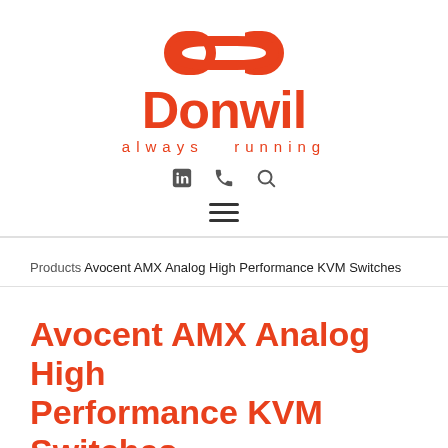[Figure (logo): Donwil logo with chain-link icon above the word Donwil in bold orange, and tagline 'always running' below in orange, followed by LinkedIn, phone, and search icons, and a hamburger menu icon]
Products Avocent AMX Analog High Performance KVM Switches
Avocent AMX Analog High Performance KVM Switches